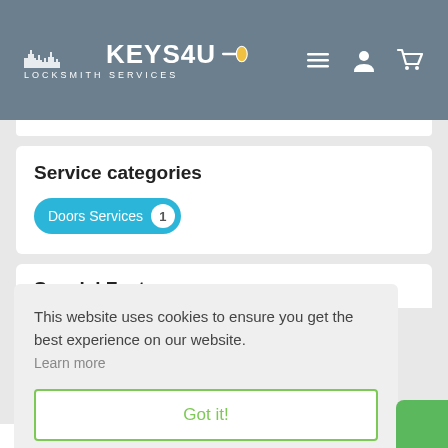[Figure (logo): Keys4U Locksmith Services logo with city skyline silhouette, key icon with yellow oval, and hamburger menu, user, and cart icons on grey header]
Service categories
Doors Services 1
Special Features
This website uses cookies to ensure you get the best experience on our website. Learn more
Got it!